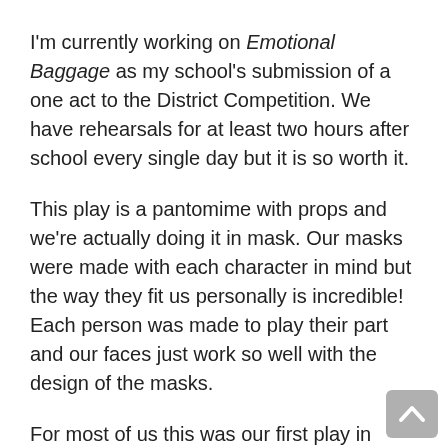I'm currently working on Emotional Baggage as my school's submission of a one act to the District Competition. We have rehearsals for at least two hours after school every single day but it is so worth it.
This play is a pantomime with props and we're actually doing it in mask. Our masks were made with each character in mind but the way they fit us personally is incredible! Each person was made to play their part and our faces just work so well with the design of the masks.
For most of us this was our first play in mask and I have grown to discover just how difficult physical theatre is. You have to make each movement big, clear, and concise if you want your audience to get it. The hardest part however, is expressing emotions without the use of your face or voice. I fully believe this will be the biggest learning experience I will have during my high school acting.
I am a sophomore myself and seven of the ten actors in